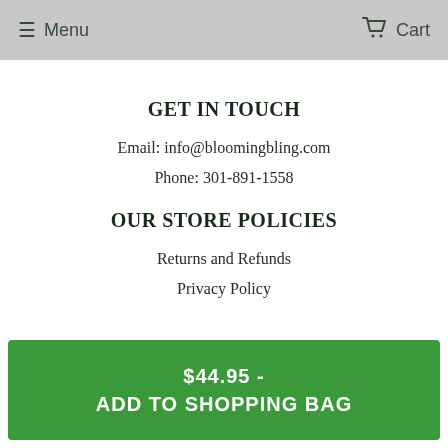Menu  Cart
GET IN TOUCH
Email: info@bloomingbling.com
Phone: 301-891-1558
OUR STORE POLICIES
Returns and Refunds
Privacy Policy
$44.95 - ADD TO SHOPPING BAG